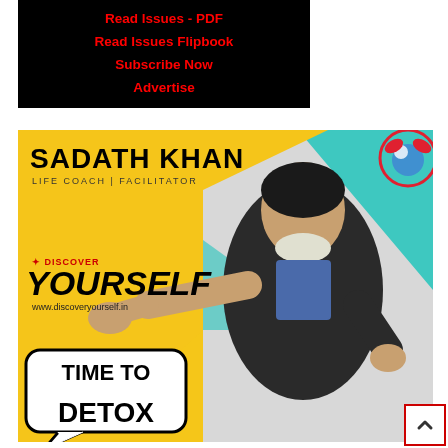[Figure (screenshot): Black navigation banner with red text links: Read Issues - PDF, Read Issues Flipbook, Subscribe Now, Advertise]
[Figure (photo): Advertisement image for Sadath Khan, Life Coach | Facilitator. Features a man in a black suit pointing at the viewer against a yellow and teal geometric background. Text includes 'Discover Yourself', 'www.discoveryourself.in', and 'TIME TO DETOX' in a speech bubble. Logo in top right corner.]